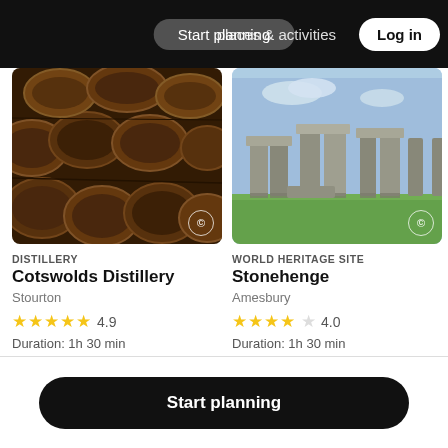Start planning   places & activities   Log in
[Figure (photo): Wooden barrels stacked in a distillery warehouse]
DISTILLERY
Cotswolds Distillery
Stourton
★★★★★ 4.9
Duration: 1h 30 min
[Figure (photo): Stonehenge stone circle monument under blue sky]
WORLD HERITAGE SITE
Stonehenge
Amesbury
★★★★☆ 4.0
Duration: 1h 30 min
Start planning